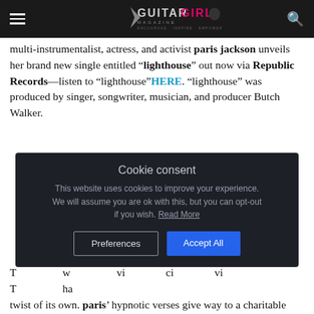Guitar Girl Magazine
multi-instrumentalist, actress, and activist paris jackson unveils her brand new single entitled “lighthouse” out now via Republic Records—listen to “lighthouse”HERE. “lighthouse” was produced by singer, songwriter, musician, and producer Butch Walker.
[Figure (other): Cookie consent dialog overlay with title 'Cookie consent', body text 'This website uses cookies to improve your experience. We will assume you are ok with this, but you can opt-out if you wish. Read More', and two buttons: 'Preferences' and 'Accept All'.]
T... twist of its own. paris’ hypnotic verses give way to a charitable cho...